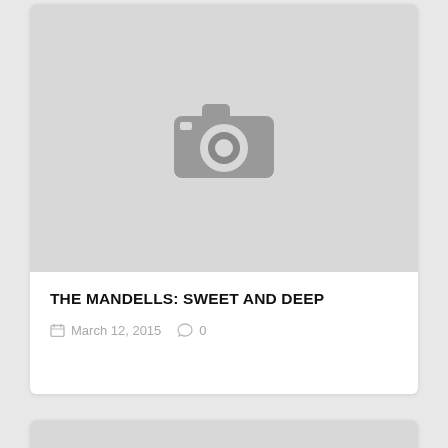[Figure (photo): Placeholder image with camera icon, gray background]
THE MANDELLS: SWEET AND DEEP
March 12, 2015   0
[Figure (photo): Placeholder image with camera icon, gray background (partial, bottom of page)]